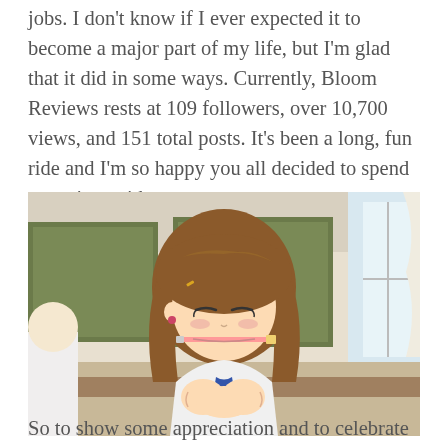jobs. I don't know if I ever expected it to become a major part of my life, but I'm glad that it did in some ways. Currently, Bloom Reviews rests at 109 followers, over 10,700 views, and 151 total posts. It's been a long, fun ride and I'm so happy you all decided to spend your time with me.
[Figure (illustration): Anime character screenshot: a brown-haired anime girl in a school uniform sitting at a desk, holding a pencil in her mouth with her eyes downcast, in a classroom setting with green chalkboards and windows in the background.]
So to show some appreciation and to celebrate